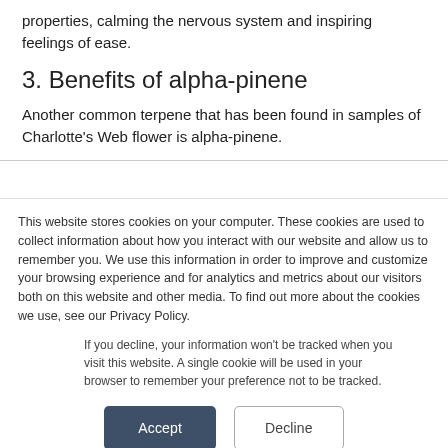properties, calming the nervous system and inspiring feelings of ease.
3. Benefits of alpha-pinene
Another common terpene that has been found in samples of Charlotte's Web flower is alpha-pinene.
This website stores cookies on your computer. These cookies are used to collect information about how you interact with our website and allow us to remember you. We use this information in order to improve and customize your browsing experience and for analytics and metrics about our visitors both on this website and other media. To find out more about the cookies we use, see our Privacy Policy.
If you decline, your information won't be tracked when you visit this website. A single cookie will be used in your browser to remember your preference not to be tracked.